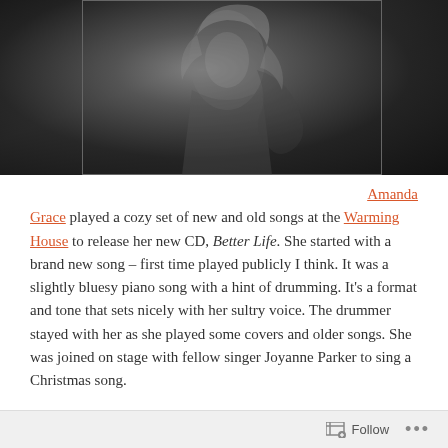[Figure (photo): Black and white photo of a female musician playing guitar, with long blonde hair, wearing a sparkly top, performing on stage against a dark background.]
Amanda Grace played a cozy set of new and old songs at the Warming House to release her new CD, Better Life. She started with a brand new song – first time played publicly I think. It was a slightly bluesy piano song with a hint of drumming. It's a format and tone that sets nicely with her sultry voice. The drummer stayed with her as she played some covers and older songs. She was joined on stage with fellow singer Joyanne Parker to sing a Christmas song.
Follow ...